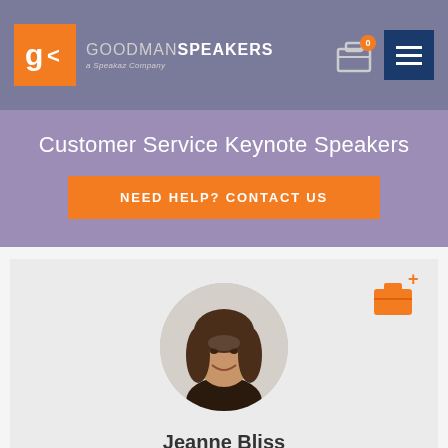Goodman Speakers — a Speakaz Company
Customer Service Keynote Speakers
NEED HELP? CONTACT US
Jeanne Bliss
Customer Service & Experience Expert